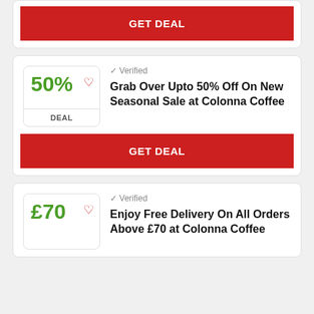[Figure (screenshot): GET DEAL red button for a coupon card (top, partially visible)]
[Figure (screenshot): Deal card showing 50% off with heart icon and DEAL label badge]
✓ Verified
Grab Over Upto 50% Off On New Seasonal Sale at Colonna Coffee
[Figure (screenshot): GET DEAL red button for second coupon card]
[Figure (screenshot): Deal card showing £70 with heart icon badge (partial at bottom)]
✓ Verified
Enjoy Free Delivery On All Orders Above £70 at Colonna Coffee